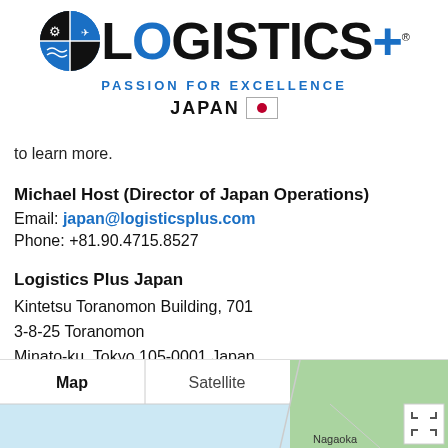[Figure (logo): Logistics Plus logo with circular emblem, bold text LOGISTICS+, registered trademark, tagline PASSION FOR EXCELLENCE, and JAPAN with Japanese flag]
to learn more.
Michael Host (Director of Japan Operations)
Email: japan@logisticsplus.com
Phone: +81.90.4715.8527
Logistics Plus Japan
Kintetsu Toranomon Building, 701
3-8-25 Toranomon
Minato-ku, Tokyo 105-0001 Japan
[Figure (map): Google Maps view showing Map and Satellite tabs, with partial map showing Fukushima and Nagaoka regions of Japan]